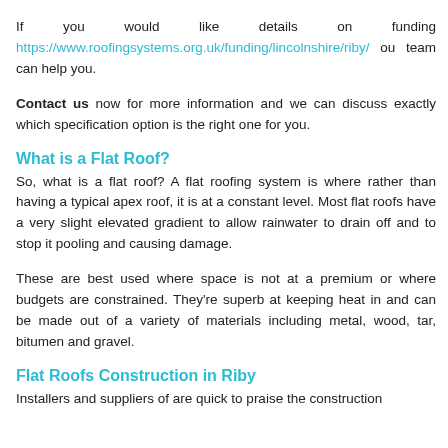spans and aftercare requirements.
If you would like details on funding https://www.roofingsystems.org.uk/funding/lincolnshire/riby/ our team can help you.
Contact us now for more information and we can discuss exactly which specification option is the right one for you.
What is a Flat Roof?
So, what is a flat roof? A flat roofing system is where rather than having a typical apex roof, it is at a constant level. Most flat roofs have a very slight elevated gradient to allow rainwater to drain off and to stop it pooling and causing damage.
These are best used where space is not at a premium or where budgets are constrained. They're superb at keeping heat in and can be made out of a variety of materials including metal, wood, tar, bitumen and gravel.
Flat Roofs Construction in Riby
Installers and suppliers of are quick to praise the construction